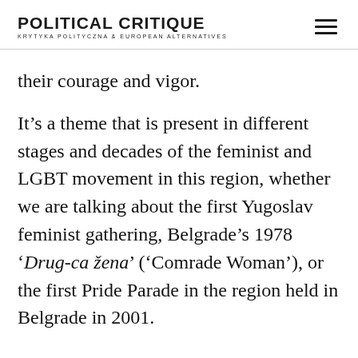POLITICAL CRITIQUE KRYTYKA POLITYCZNA & EUROPEAN ALTERNATIVES
their courage and vigor.
It’s a theme that is present in different stages and decades of the feminist and LGBT movement in this region, whether we are talking about the first Yugoslav feminist gathering, Belgrade’s 1978 ‘Drug-ca žena’ (‘Comrade Woman’), or the first Pride Parade in the region held in Belgrade in 2001.